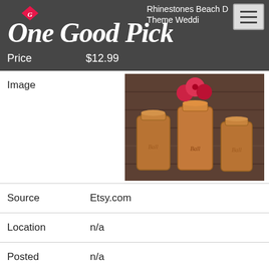[Figure (logo): One Good Pick logo in white script on dark gray background with red diamond accent]
Rhinestones Beach Decor Theme Wedding
Price  $12.99
| Image |  |
| Source | Etsy.com |
| Location | n/a |
| Posted | n/a |
| Title | Metallic mason jars. Centerpieces. Vases. Rustic decor |
| Price | $7.00 |
| Image |  |